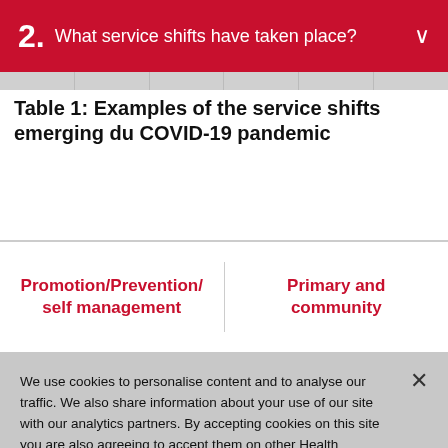2. What service shifts have taken place?
Table 1: Examples of the service shifts emerging during the COVID-19 pandemic
| Promotion/Prevention/ self management | Primary and community |
| --- | --- |
We use cookies to personalise content and to analyse our traffic. We also share information about your use of our site with our analytics partners. By accepting cookies on this site you are also agreeing to accept them on other Health Foundation sites. Read our Privacy Policy
Cookies Settings | Accept All Cookies